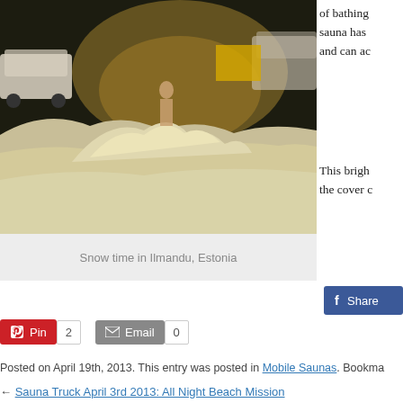[Figure (photo): A nighttime winter scene showing a person outside near a large snow pile, with vehicles in the background. The scene appears to be at Ilmandu, Estonia.]
Snow time in Ilmandu, Estonia
of bathing sauna has and can ac
This brigh the cover c
[Figure (screenshot): Facebook Share button]
Pin 2
Email 0
Posted on April 19th, 2013. This entry was posted in Mobile Saunas. Bookma
← Sauna Truck April 3rd 2013: All Night Beach Mission